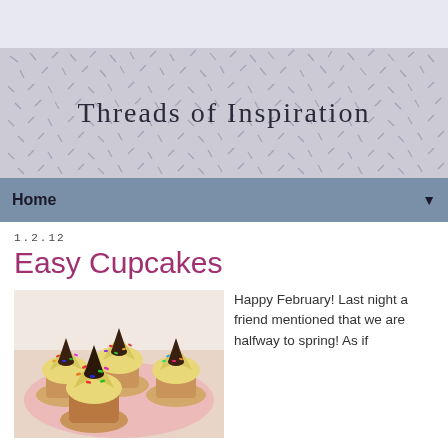[Figure (illustration): Top gray bar area above the blog header banner]
[Figure (illustration): Blog header banner with fabric/textile pattern background showing small leaf/dash motifs in blue-gray on cream, with text 'Threads of Inspiration' in serif font centered]
Home ▼
1.2.12
Easy Cupcakes
[Figure (photo): Photo of cupcakes with yellow/cream frosting topped with chocolate Hershey's kisses and colorful sprinkles on a pink/glass plate]
Happy February! Last night a friend mentioned that we are halfway to spring! As if